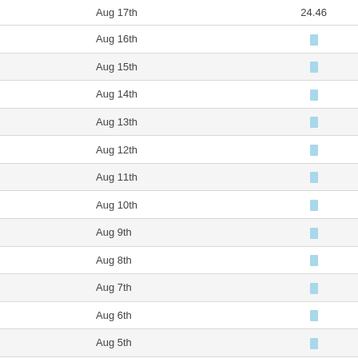| Date | Value |
| --- | --- |
| Aug 17th | 24.46 |
| Aug 16th |  |
| Aug 15th |  |
| Aug 14th |  |
| Aug 13th |  |
| Aug 12th |  |
| Aug 11th |  |
| Aug 10th |  |
| Aug 9th |  |
| Aug 8th |  |
| Aug 7th |  |
| Aug 6th |  |
| Aug 5th |  |